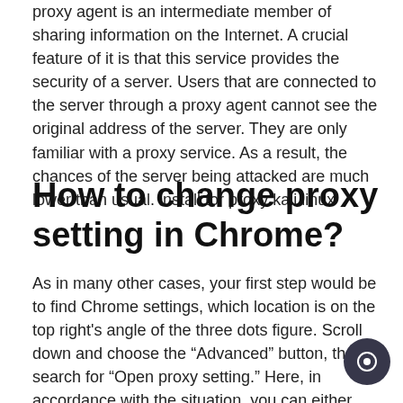proxy agent is an intermediate member of sharing information on the Internet. A crucial feature of it is that this service provides the security of a server. Users that are connected to the server through a proxy agent cannot see the original address of the server. They are only familiar with a proxy service. As a result, the chances of the server being attacked are much lower than usual. install tor proxy kali linux
How to change proxy setting in Chrome?
As in many other cases, your first step would be to find Chrome settings, which location is on the top right's angle of the three dots figure. Scroll down and choose the “Advanced” button, then search for “Open proxy setting.” Here, in accordance with the situation, you can either delete the proxy or click on these proxy settings and configure them on your computer. The second option would be to google for browser proxy extensions and implement one of them on your